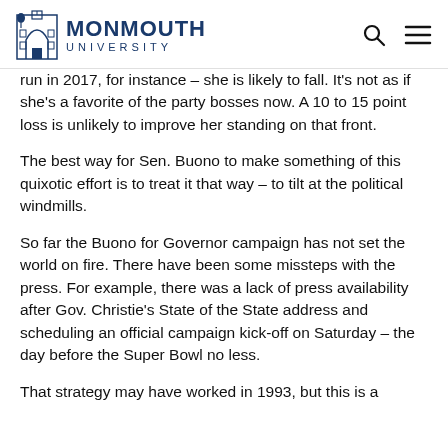Monmouth University
run in 2017, for instance – she is likely to fall.  It's not as if she's a favorite of the party bosses now.  A 10 to 15 point loss is unlikely to improve her standing on that front.
The best way for Sen. Buono to make something of this quixotic effort is to treat it that way – to tilt at the political windmills.
So far the Buono for Governor campaign has not set the world on fire.   There have been some missteps with the press.  For example, there was a lack of press availability after Gov. Christie's State of the State address and scheduling an official campaign kick-off on Saturday – the day before the Super Bowl no less.
That strategy may have worked in 1993, but this is a